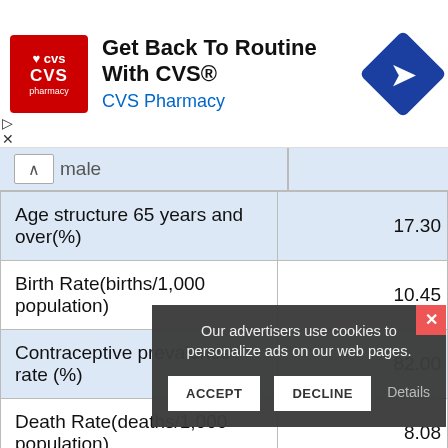[Figure (screenshot): CVS Pharmacy advertisement banner: red logo with heart, text 'Get Back To Routine With CVS®', 'CVS Pharmacy', and a blue diamond arrow icon]
|  | male |
| --- | --- |
| Age structure 65 years and over(%) | 17.30 |
| Birth Rate(births/1,000 population) | 10.45 |
| Contraceptive prevalence rate (%) | 82.00 |
| Death Rate(deaths/1,000 population) | 8.08 |
| Dependency ratios - potential support ratio (working-age people (ages 15-64) per one elderly person | 0 |